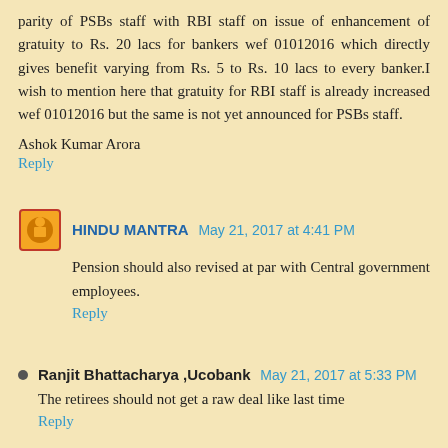parity of PSBs staff with RBI staff on issue of enhancement of gratuity to Rs. 20 lacs for bankers wef 01012016 which directly gives benefit varying from Rs. 5 to Rs. 10 lacs to every banker.I wish to mention here that gratuity for RBI staff is already increased wef 01012016 but the same is not yet announced for PSBs staff.
Ashok Kumar Arora
Reply
HINDU MANTRA  May 21, 2017 at 4:41 PM
Pension should also revised at par with Central government employees.
Reply
Ranjit Bhattacharya ,Ucobank  May 21, 2017 at 5:33 PM
The retirees should not get a raw deal like last time
Reply